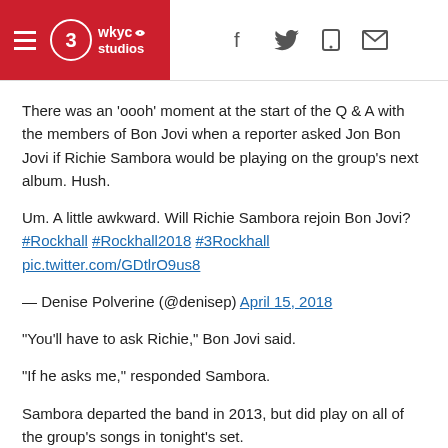WKYC Studios — header with hamburger menu, logo, and social icons (f, twitter, mobile, mail)
There was an 'oooh' moment at the start of the Q & A with the members of Bon Jovi when a reporter asked Jon Bon Jovi if Richie Sambora would be playing on the group's next album. Hush.
Um. A little awkward. Will Richie Sambora rejoin Bon Jovi? #Rockhall #Rockhall2018 #3Rockhall pic.twitter.com/GDtlrO9us8
— Denise Polverine (@denisep) April 15, 2018
"You'll have to ask Richie," Bon Jovi said.
"If he asks me," responded Sambora.
Sambora departed the band in 2013, but did play on all of the group's songs in tonight's set.